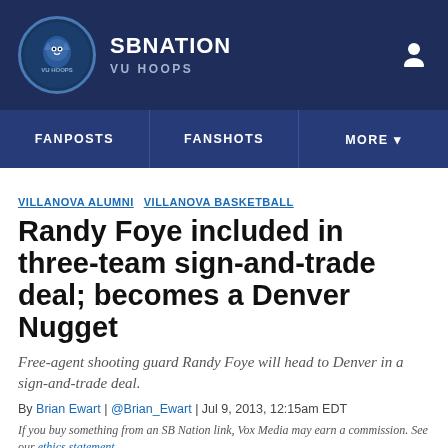SB NATION | VU HOOPS
FANPOSTS | FANSHOTS | MORE
VILLANOVA ALUMNI  VILLANOVA BASKETBALL
Randy Foye included in three-team sign-and-trade deal; becomes a Denver Nugget
Free-agent shooting guard Randy Foye will head to Denver in a sign-and-trade deal.
By Brian Ewart | @Brian_Ewart | Jul 9, 2013, 12:15am EDT
If you buy something from an SB Nation link, Vox Media may earn a commission. See our ethics statement.